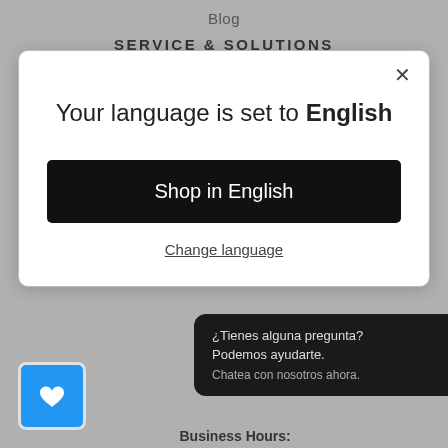Blog
SERVICE & SOLUTIONS
[Figure (screenshot): Language selection modal dialog on a gray background. Heading: 'Your language is set to English'. Black button: 'Shop in English'. Link: 'Change language'. Close X button top right.]
[Figure (screenshot): Dark chat widget: '¿Tienes alguna pregunta? Podemos ayudarte. Chatea con nosotros ahora.' with a blue speech bubble icon.]
[Figure (screenshot): Blue square wishlist/heart button in bottom left corner.]
Business Hours: